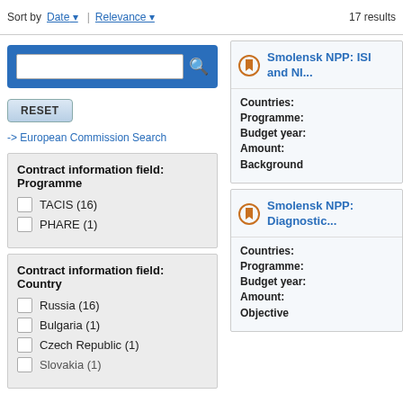Sort by Date | Relevance   17 results
[Figure (other): Search input box with magnifying glass icon on blue background]
RESET
-> European Commission Search
Contract information field: Programme
TACIS (16)
PHARE (1)
Contract information field: Country
Russia (16)
Bulgaria (1)
Czech Republic (1)
Slovakia (1)
Smolensk NPP: ISI and NI...
Countries:
Programme:
Budget year:
Amount:
Background
Smolensk NPP: Diagnostic...
Countries:
Programme:
Budget year:
Amount:
Objective